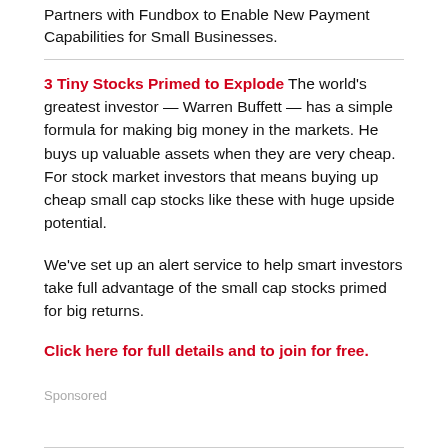Partners with Fundbox to Enable New Payment Capabilities for Small Businesses.
3 Tiny Stocks Primed to Explode The world's greatest investor — Warren Buffett — has a simple formula for making big money in the markets. He buys up valuable assets when they are very cheap. For stock market investors that means buying up cheap small cap stocks like these with huge upside potential.
We've set up an alert service to help smart investors take full advantage of the small cap stocks primed for big returns.
Click here for full details and to join for free.
Sponsored